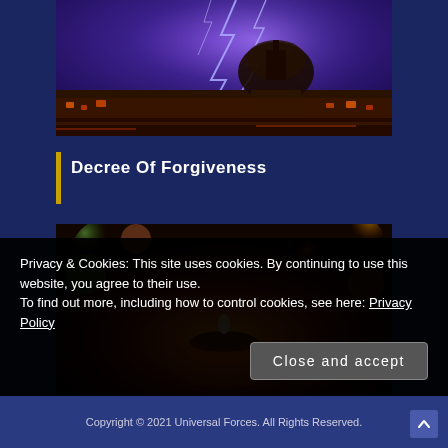[Figure (photo): Night photo of St. Peter's Basilica in Vatican with dramatic purple lightning bolts in the sky, illuminated buildings below]
Decree Of Forgiveness
[Figure (photo): Close-up photo of a small lit tealight candle with warm orange and red bokeh background, colorful blurred lights]
Privacy & Cookies: This site uses cookies. By continuing to use this website, you agree to their use.
To find out more, including how to control cookies, see here: Privacy Policy
Copyright © 2021 Universal Forces. All Rights Reserved.